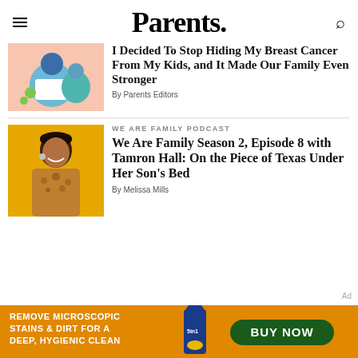Parents.
[Figure (illustration): Illustration of a parent reading with a child, colorful flat design]
I Decided To Stop Hiding My Breast Cancer From My Kids, and It Made Our Family Even Stronger
By Parents Editors
WE ARE FAMILY PODCAST
[Figure (photo): Photo of Tamron Hall, a Black woman with short hair, smiling, wearing a patterned jacket, against a yellow background]
We Are Family Season 2, Episode 8 with Tamron Hall: On the Piece of Texas Under Her Son's Bed
By Melissa Mills
[Figure (other): Advertisement banner: Remove Microscopic Stains & Dirt For a Deep, Hygienic Clean — BUY NOW, showing laundry detergent bottle]